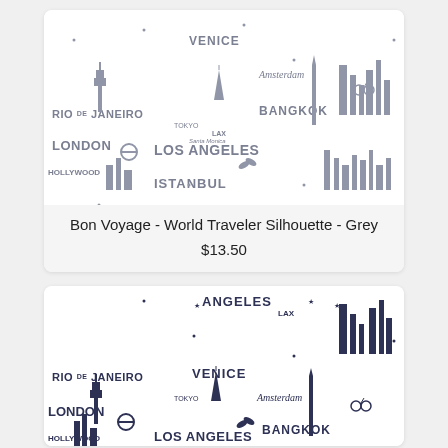[Figure (illustration): World traveler fabric pattern in grey showing city silhouettes and landmarks with text: RIO DE JANEIRO, VENICE, Amsterdam, BANGKOK, LONDON, LOS ANGELES, ISTANBUL, HOLLYWOOD, TOKYO, LAX]
Bon Voyage - World Traveler Silhouette - Grey
$13.50
[Figure (illustration): World traveler fabric pattern in navy/dark blue showing city silhouettes and landmarks with text: ANGELES, LAX, RIO DE JANEIRO, VENICE, Amsterdam, BANGKOK, LONDON, LOS ANGELES, HOLLYWOOD, TOKYO]